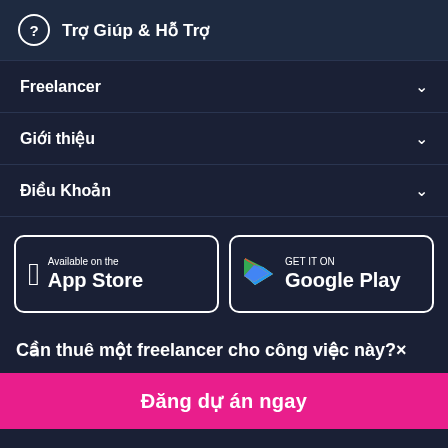Trợ Giúp & Hỗ Trợ
Freelancer
Giới thiệu
Điều Khoản
[Figure (screenshot): App Store and Google Play download buttons]
Cần thuê một freelancer cho công việc này? ×
Đăng dự án ngay